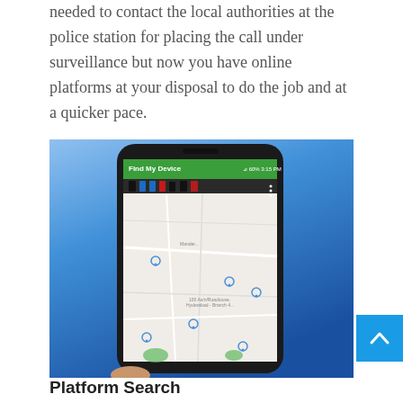needed to contact the local authorities at the police station for placing the call under surveillance but now you have online platforms at your disposal to do the job and at a quicker pace.
[Figure (photo): A hand holding a smartphone displaying the 'Find My Device' app with a map showing multiple device locations marked with icons, set against a blue background.]
Platform Search